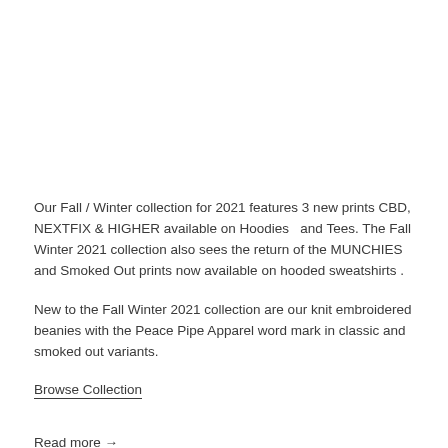Our Fall / Winter collection for 2021 features 3 new prints CBD, NEXTFIX & HIGHER available on Hoodies  and Tees. The Fall Winter 2021 collection also sees the return of the MUNCHIES and Smoked Out prints now available on hooded sweatshirts .
New to the Fall Winter 2021 collection are our knit embroidered beanies with the Peace Pipe Apparel word mark in classic and smoked out variants.
Browse Collection
Read more →